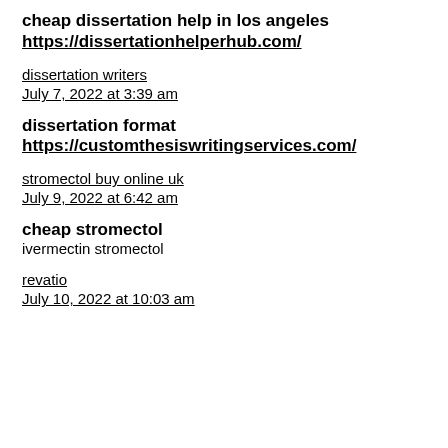cheap dissertation help in los angeles
https://dissertationhelperhub.com/
dissertation writers
July 7, 2022 at 3:39 am
dissertation format
https://customthesiswritingservices.com/
stromectol buy online uk
July 9, 2022 at 6:42 am
cheap stromectol
ivermectin stromectol
revatio
July 10, 2022 at 10:03 am